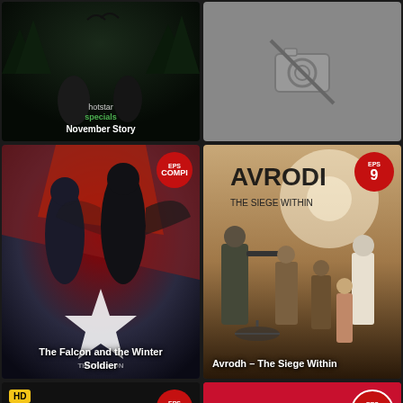[Figure (screenshot): Hotstar Specials - November Story show card with dark background and two figures]
[Figure (screenshot): Placeholder image with camera icon (no image available)]
[Figure (screenshot): The Falcon and the Winter Soldier Marvel show card with EPS COMPL badge]
[Figure (screenshot): Avrodh - The Siege Within show card with EPS 9 badge]
[Figure (screenshot): Money show card with HD badge and EPS COMPL badge, partially visible]
[Figure (screenshot): Hotstar show card with red background and EPS 20 badge, partially visible]